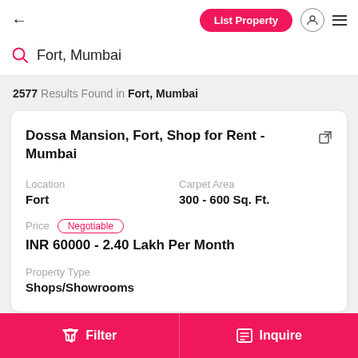← | List Property | [user icon] | [menu]
Fort, Mumbai
2577 Results Found in Fort, Mumbai
Dossa Mansion, Fort, Shop for Rent - Mumbai
Location
Fort
Carpet Area
300 - 600 Sq. Ft.
Price Negotiable
INR 60000 - 2.40 Lakh Per Month
Property Type
Shops/Showrooms
Filter | Inquire